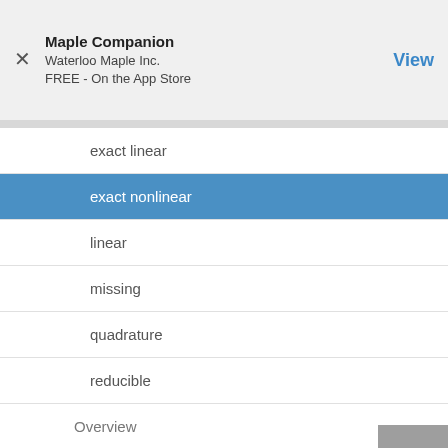Maple Companion
Waterloo Maple Inc.
FREE - On the App Store
exact linear
exact nonlinear
linear
missing
quadrature
reducible
Overview
classification types
build ODE solutions